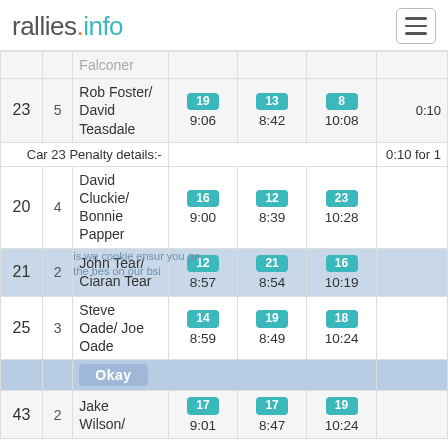rallies.info
| Pos | Seed | Driver/Nav | SS1 | SS2 | SS3 | Penalty |
| --- | --- | --- | --- | --- | --- | --- |
| 23 | 5 | Rob Foster/ David Teasdale | 19 9:06 | 13 8:42 | 8 10:08 | 0:10 |
|  |  | Car 23 Penalty details:- |  |  |  | 0:10 for ... |
| 20 | 4 | David Cluckie/ Bonnie Papper | 16 9:00 | 12 8:39 | 23 10:28 |  |
| 21 | 2 | John Tear/ Ciaran Tear | 12 8:57 | 21 8:54 | 16 10:19 |  |
| 25 | 3 | Steve Oade/ Joe Oade | 14 8:59 | 19 8:49 | 18 10:24 |  |
| 43 | 2 | Jake Wilson/ | 17 9:01 | 17 8:47 | 19 10:24 |  |